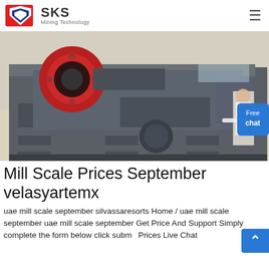SKS Mining Technology
[Figure (photo): Industrial mining machine (crusher/vibrating screen) in gray and red, photographed in a factory setting.]
Mill Scale Prices September velasyartemx
uae mill scale september silvassaresorts Home / uae mill scale september uae mill scale september Get Price And Support Simply complete the form below click subm... Prices Live Chat